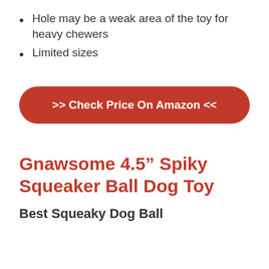Hole may be a weak area of the toy for heavy chewers
Limited sizes
>> Check Price On Amazon <<
Gnawsome 4.5” Spiky Squeaker Ball Dog Toy
Best Squeaky Dog Ball